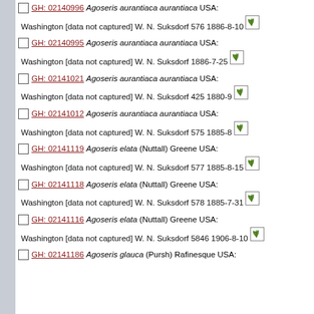GH: 02140996 Agoseris aurantiaca aurantiaca USA: Washington [data not captured] W. N. Suksdorf 576 1886-8-10
GH: 02140995 Agoseris aurantiaca aurantiaca USA: Washington [data not captured] W. N. Suksdorf 1886-7-25
GH: 02141021 Agoseris aurantiaca aurantiaca USA: Washington [data not captured] W. N. Suksdorf 425 1880-9
GH: 02141012 Agoseris aurantiaca aurantiaca USA: Washington [data not captured] W. N. Suksdorf 575 1885-8
GH: 02141119 Agoseris elata (Nuttall) Greene USA: Washington [data not captured] W. N. Suksdorf 577 1885-8-15
GH: 02141118 Agoseris elata (Nuttall) Greene USA: Washington [data not captured] W. N. Suksdorf 578 1885-7-31
GH: 02141116 Agoseris elata (Nuttall) Greene USA: Washington [data not captured] W. N. Suksdorf 5846 1906-8-10
GH: 02141186 Agoseris glauca (Pursh) Rafinesque USA: